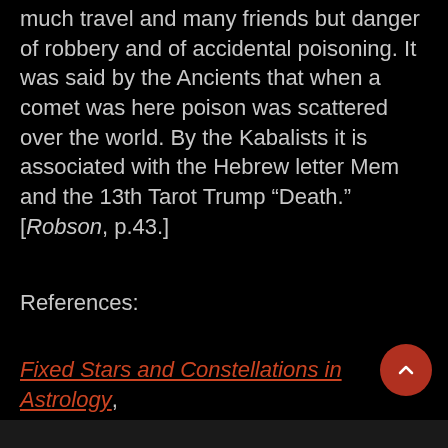much travel and many friends but danger of robbery and of accidental poisoning. It was said by the Ancients that when a comet was here poison was scattered over the world. By the Kabalists it is associated with the Hebrew letter Mem and the 13th Tarot Trump “Death.” [Robson, p.43.]
References:
Fixed Stars and Constellations in Astrology, Vivian E. Robson, 1923].